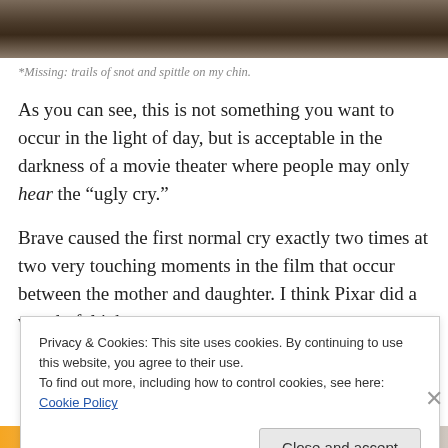[Figure (photo): Cropped photo of a person covering their face with their hand, showing distress or crying expression]
*Missing: trails of snot and spittle on my chin.
As you can see, this is not something you want to occur in the light of day, but is acceptable in the darkness of a movie theater where people may only hear the “ugly cry.”
Brave caused the first normal cry exactly two times at two very touching moments in the film that occur between the mother and daughter. I think Pixar did a wonderful job
Privacy & Cookies: This site uses cookies. By continuing to use this website, you agree to their use.
To find out more, including how to control cookies, see here: Cookie Policy